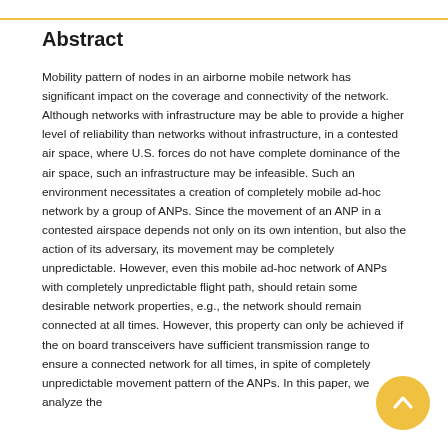Abstract
Mobility pattern of nodes in an airborne mobile network has significant impact on the coverage and connectivity of the network. Although networks with infrastructure may be able to provide a higher level of reliability than networks without infrastructure, in a contested air space, where U.S. forces do not have complete dominance of the air space, such an infrastructure may be infeasible. Such an environment necessitates a creation of completely mobile ad-hoc network by a group of ANPs. Since the movement of an ANP in a contested airspace depends not only on its own intention, but also the action of its adversary, its movement may be completely unpredictable. However, even this mobile ad-hoc network of ANPs with completely unpredictable flight path, should retain some desirable network properties, e.g., the network should remain connected at all times. However, this property can only be achieved if the on board transceivers have sufficient transmission range to ensure a connected network for all times, in spite of completely unpredictable movement pattern of the ANPs. In this paper, we analyze the